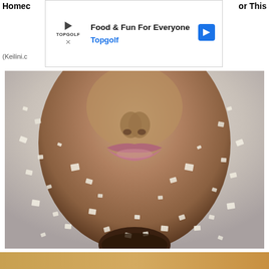Homec
or This
[Figure (infographic): Advertisement banner for Topgolf: 'Food & Fun For Everyone' with Topgolf logo, play icon, and blue navigation arrow icon]
(Keilini.c
[Figure (photo): Close-up photo of a person's lower face covered in coarse salt or sugar crystals, with lips visible in the center. The skin appears covered in glistening granules against a light background.]
Doctors Stunned: This Removes Wrinkles Like Crazy (Try Tonight)
(Brilliance)
[Figure (photo): Partial bottom strip showing the top portion of another image below]